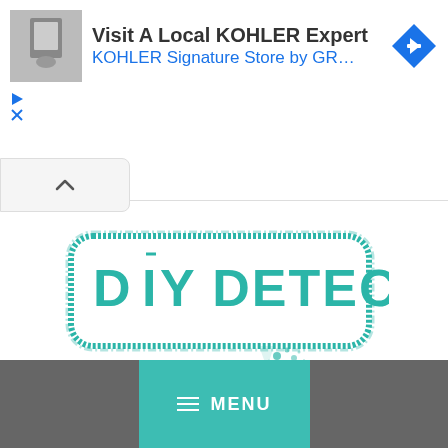[Figure (screenshot): Advertisement banner for KOHLER Signature Store with thumbnail image, title 'Visit A Local KOHLER Expert', subtitle 'KOHLER Signature Store by GR...', navigation icon (blue diamond with arrow), play and close controls, and a collapse chevron button.]
[Figure (logo): DIY Detectives logo — teal stamp-style rounded rectangle containing the text 'DIY DETECTIVES' in teal capital letters with a decorative overline on the I, plus splatter/grunge details.]
- Investigating projects, decor, tips, and tricks for your everyday home life. -
[Figure (screenshot): Dark gray navigation bar at bottom with a teal MENU button (hamburger icon + word MENU in white caps).]